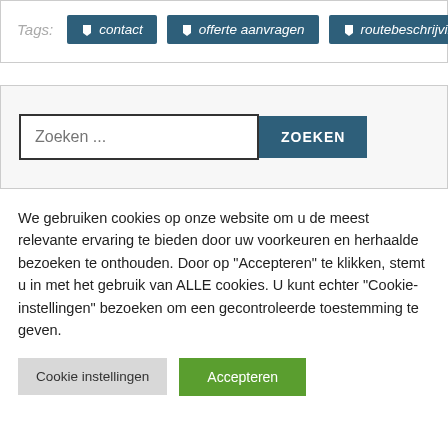Tags: contact  offerte aanvragen  routebeschrijving
Zoeken ...
We gebruiken cookies op onze website om u de meest relevante ervaring te bieden door uw voorkeuren en herhaalde bezoeken te onthouden. Door op "Accepteren" te klikken, stemt u in met het gebruik van ALLE cookies. U kunt echter "Cookie-instellingen" bezoeken om een gecontroleerde toestemming te geven.
Cookie instellingen
Accepteren